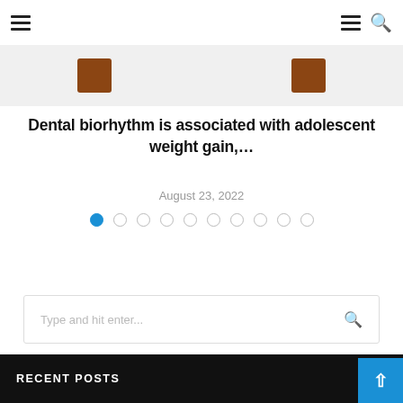Navigation header with hamburger menus and search icon
[Figure (photo): Partial image strip showing brown blocks on a light background, cropped at top]
Dental biorhythm is associated with adolescent weight gain,...
August 23, 2022
[Figure (other): Carousel dot indicators: 10 dots, first dot active (blue), rest empty circles]
Type and hit enter...
RECENT POSTS